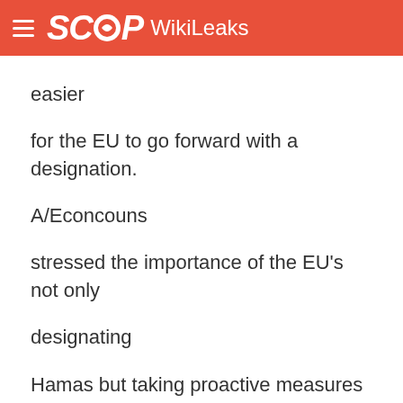SCOOP WikiLeaks
easier for the EU to go forward with a designation. A/Econcouns stressed the importance of the EU's not only designating Hamas but taking proactive measures to disrupt Hamas fundraising, including through investigating and designating supporters and front organizations. A/Econcouns mentioned the Dutch designation of the Al Aqsa Foundation and freezing